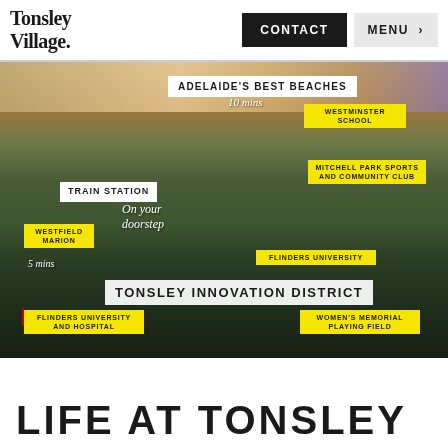Tonsley Village.
[Figure (photo): Aerial photograph of Tonsley area in Adelaide, Australia, at dusk/sunset, showing suburban landscape with various landmarks labeled including: Adelaide's Best Beaches (10 mins), Westminster School, Mitchell Park Sports and Community Club, Train Station (On your doorstep), Westfield Marion (5 mins), Flinders University, Tonsley Innovation District, Women's Memorial Playing Field, Flinders University and Hospital]
LIFE AT TONSLEY